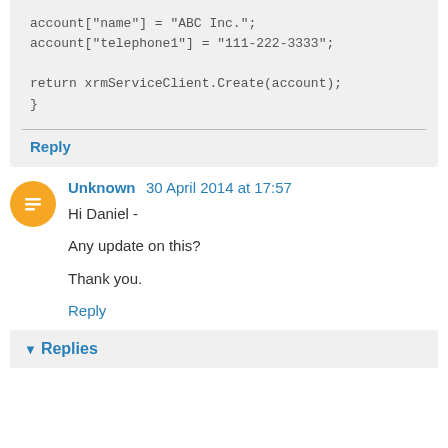account["name"] = "ABC Inc.";
account["telephone1"] = "111-222-3333";

return xrmServiceClient.Create(account);
}
Reply
Unknown  30 April 2014 at 17:57
Hi Daniel -

Any update on this?

Thank you.
Reply
Replies